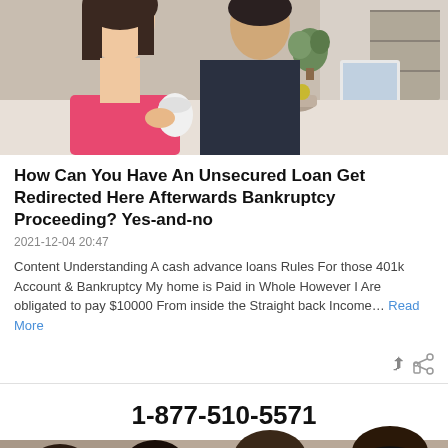[Figure (photo): Two people at a table, one wearing pink holding a coffee cup, another in dark clothing, laptop and plant in background]
How Can You Have An Unsecured Loan Get Redirected Here Afterwards Bankruptcy Proceeding? Yes-and-no
2021-12-04 20:47
Content Understanding A cash advance loans Rules For those 401k Account & Bankruptcy My home is Paid in Whole However I Are obligated to pay $10000 From inside the Straight back Income… Read More
[Figure (photo): Call center image with phone number 1-877-510-5571 shown above, multiple customer service agents wearing headsets visible below]